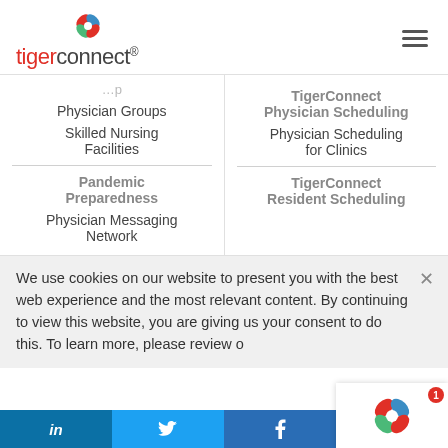[Figure (logo): TigerConnect logo with flower/petal icon in red, blue, and green above the brand name]
Physician Groups
Skilled Nursing Facilities
Pandemic Preparedness
Physician Messaging Network
TigerConnect Physician Scheduling
Physician Scheduling for Clinics
TigerConnect Resident Scheduling
We use cookies on our website to present you with the best web experience and the most relevant content. By continuing to view this website, you are giving us your consent to do this. To learn more, please review o